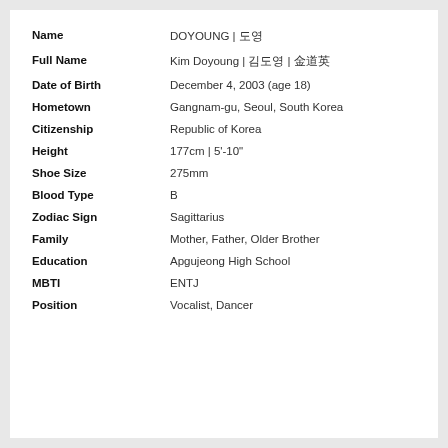| Field | Value |
| --- | --- |
| Name | DOYOUNG | 도영 |
| Full Name | Kim Doyoung | 김도영 | 金道英 |
| Date of Birth | December 4, 2003 (age 18) |
| Hometown | Gangnam-gu, Seoul, South Korea |
| Citizenship | Republic of Korea |
| Height | 177cm | 5'-10" |
| Shoe Size | 275mm |
| Blood Type | B |
| Zodiac Sign | Sagittarius |
| Family | Mother, Father, Older Brother |
| Education | Apgujeong High School |
| MBTI | ENTJ |
| Position | Vocalist, Dancer |